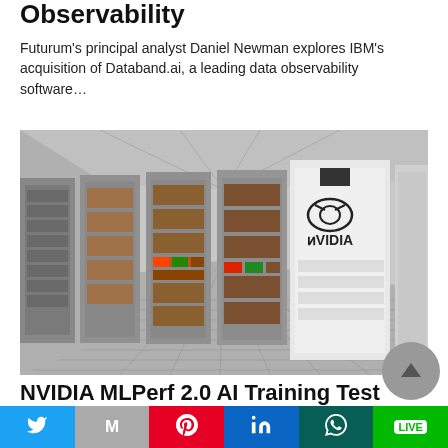Observability
Futurum's principal analyst Daniel Newman explores IBM's acquisition of Databand.ai, a leading data observability software…
[Figure (photo): A data center corridor with server racks and NVIDIA branding visible on a white server unit on the right side.]
NVIDIA MLPerf 2.0 AI Training Test Leadership Continues
[Figure (infographic): Share bar with social media buttons: Twitter, Mail, Pinterest, LinkedIn, WhatsApp, Line]